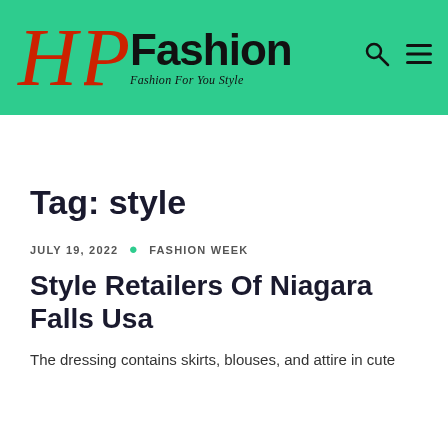HP Fashion — Fashion For You Style
Tag: style
JULY 19, 2022 · FASHION WEEK
Style Retailers Of Niagara Falls Usa
The dressing contains skirts, blouses, and attire in cute